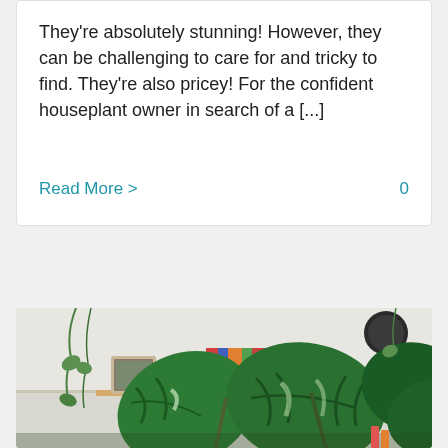They're absolutely stunning! However, they can be challenging to care for and tricky to find. They're also pricey! For the confident houseplant owner in search of a [...]
Read More > 0
[Figure (photo): Indoor plant photo showing large green monstera leaves with white variegation in the foreground, a wooden shelf with books, pots, and decorative items in the background, and hanging plants visible.]